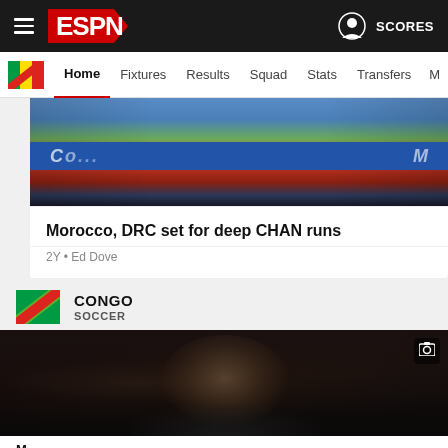ESPN — Home Fixtures Results Squad Stats Transfers More | SCORES
[Figure (screenshot): ESPN website navigation bar with hamburger menu, ESPN logo, user icon and SCORES link]
[Figure (photo): Soccer player in Moroccan/green kit mid-action with blue advertisement board background]
Morocco, DRC set for deep CHAN runs
2Y • Ed Dove
CONGO
SOCCER
[Figure (photo): Close-up portrait of a Black male soccer player in dark kit, photographed against a dark bokeh background]
M... (headline text partially visible at bottom)